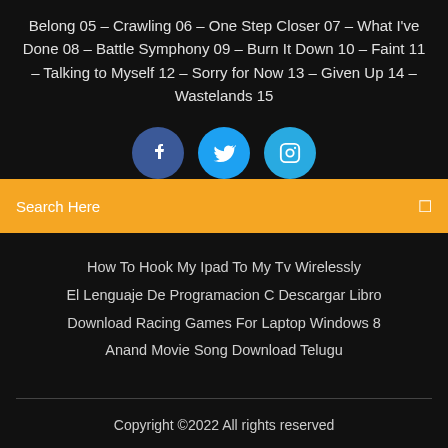Belong 05 – Crawling 06 – One Step Closer 07 – What I've Done 08 – Battle Symphony 09 – Burn It Down 10 – Faint 11 – Talking to Myself 12 – Sorry for Now 13 – Given Up 14 – Wastelands 15
[Figure (other): Three social media icons: Facebook (dark blue), Twitter (light blue), Instagram (cyan blue)]
Search Here
How To Hook My Ipad To My Tv Wirelessly
El Lenguaje De Programacion C Descargar Libro
Download Racing Games For Laptop Windows 8
Anand Movie Song Download Telugu
Copyright ©2022 All rights reserved